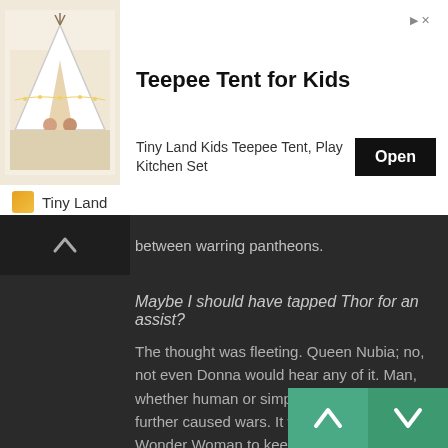[Figure (illustration): Advertisement banner for Teepee Tent for Kids by Tiny Land. Shows a photo of a toy teepee tent with children playing. Includes Open button and Tiny Land brand logo.]
between warring pantheons.
Maybe I should have tapped Thor for an assist?
The thought was fleeting. Queen Nubia; no, not even Donna would hear any of it. Man, whether human or simply just male, only further caused wars. It was the role of the Wonder Woman to keep the peace. Bringing Thor along would have been seen as an act of aggression on what should be a simple diplomatic mission.
Once upon a time, the gods sat across from each other in the Parliament of Pantheons, high above Omnipotence City. There gods like Chaac and Tupã sat across from Odin and Zeus. But while the people still remembered the works of Odin and Zeus, Chaoc and Tupã had faded into obscuri...